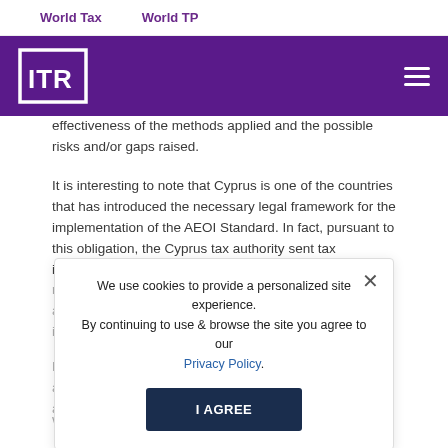World Tax    World TP
[Figure (logo): ITR logo in white on purple background header bar with hamburger menu icon]
effectiveness of the methods applied and the possible risks and/or gaps raised.
It is interesting to note that Cyprus is one of the countries that has introduced the necessary legal framework for the implementation of the AEOI Standard. In fact, pursuant to this obligation, the Cyprus tax authority sent tax information to 59 partners – countries in 2018 (for reporting year 2017). As for 2019, the competent authority provided 67 partners – countries with tax information (for reporting year 2018).
Even if these numbers are significantly above the EU average, there are existing gaps in the tax framework applied, according to the findings of the ECA.
We use cookies to provide a personalized site experience. By continuing to use & browse the site you agree to our Privacy Policy.
I AGREE